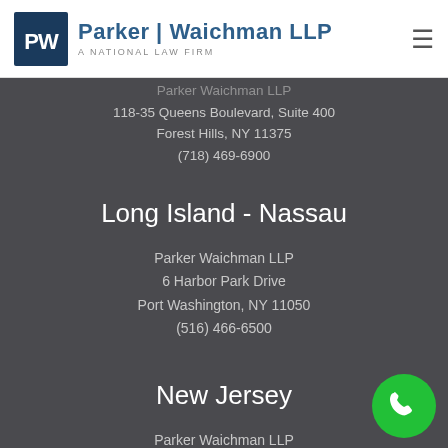Parker Waichman LLP — A National Law Firm
Parker Waichman LLP
118-35 Queens Boulevard, Suite 400
Forest Hills, NY 11375
(718) 469-6900
Long Island - Nassau
Parker Waichman LLP
6 Harbor Park Drive
Port Washington, NY 11050
(516) 466-6500
New Jersey
Parker Waichman LLP
80 Main Street, Suite 265